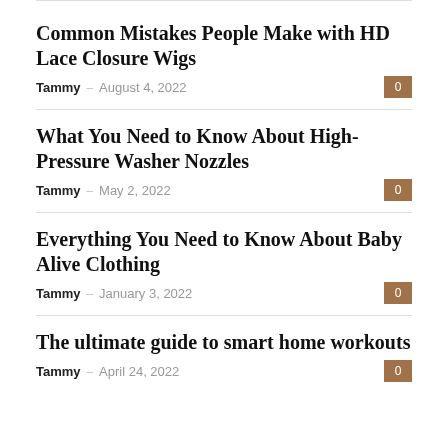Common Mistakes People Make with HD Lace Closure Wigs
Tammy – August 4, 2022
What You Need to Know About High-Pressure Washer Nozzles
Tammy – May 2, 2022
Everything You Need to Know About Baby Alive Clothing
Tammy – January 3, 2022
The ultimate guide to smart home workouts
Tammy – April 24, 2022